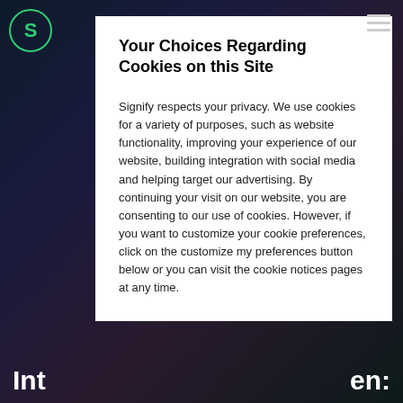[Figure (logo): Signify logo: circular green border with 'S' letter in green]
Your Choices Regarding Cookies on this Site
Signify respects your privacy. We use cookies for a variety of purposes, such as website functionality, improving your experience of our website, building integration with social media and helping target our advertising. By continuing your visit on our website, you are consenting to our use of cookies. However, if you want to customize your cookie preferences, click on the customize my preferences button below or you can visit the cookie notices pages at any time.
Int...en: